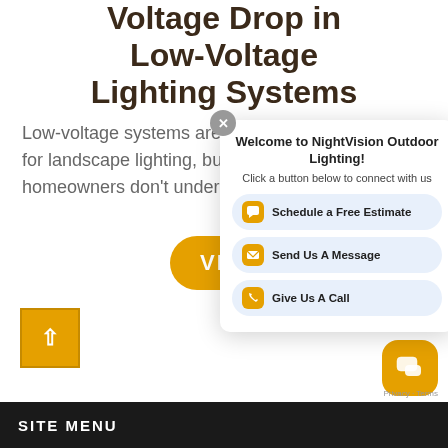Voltage Drop in Low-Voltage Lighting Systems
Low-voltage systems are standard for landscape lighting, but many homeowners don't underlying...
[Figure (screenshot): Orange rounded rectangle button with text VIEW partially visible]
[Figure (screenshot): Popup chat widget: Welcome to NightVision Outdoor Lighting! Click a button below to connect with us. Buttons: Schedule a Free Estimate, Send Us A Message, Give Us A Call]
[Figure (screenshot): Orange square scroll-up button with up arrow]
[Figure (screenshot): Orange rounded square chat widget icon at bottom right]
SITE MENU